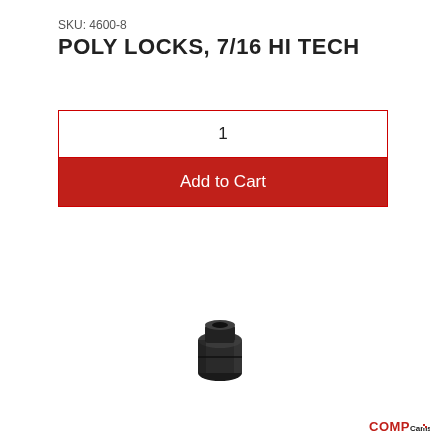SKU: 4600-8
POLY LOCKS, 7/16 HI TECH
| 1 |
| Add to Cart |
[Figure (photo): Small black cylindrical poly lock hardware component, 7/16 Hi Tech, viewed at slight angle showing hex socket on top]
[Figure (logo): COMP Cams logo in red and black at bottom right of page]